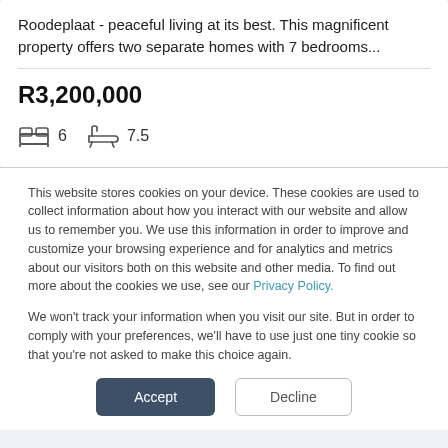Roodeplaat - peaceful living at its best. This magnificent property offers two separate homes with 7 bedrooms...
R3,200,000
6  7.5
This website stores cookies on your device. These cookies are used to collect information about how you interact with our website and allow us to remember you. We use this information in order to improve and customize your browsing experience and for analytics and metrics about our visitors both on this website and other media. To find out more about the cookies we use, see our Privacy Policy.
We won't track your information when you visit our site. But in order to comply with your preferences, we'll have to use just one tiny cookie so that you're not asked to make this choice again.
Accept
Decline